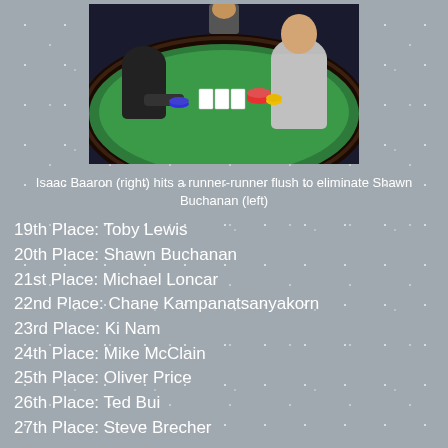[Figure (photo): Poker table scene with players seated around a green felt table with chips and cards. A player in a grey shirt (right) and a player in dark clothing (left) are visible. This depicts Isaac Baaron (right) and Shawn Buchanan (left).]
Isaac Baaron (right) hits a runner-runner flush to eliminate Shawn Buchanan (left)
19th Place: Toby Lewis
20th Place: Shawn Buchanan
21st Place: Michael Loncar
22nd Place: Chane Kampanatsanyakorn
23rd Place: Ki Nam
24th Place: Mike McClain
25th Place: Oliver Price
26th Place: Ted Bui
27th Place: Steve Brecher
Posted 2:55 PM
Share